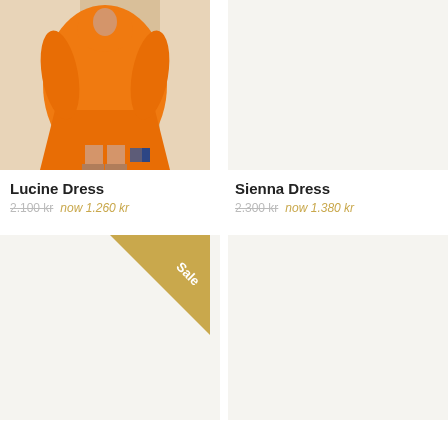[Figure (photo): Woman wearing orange satin long-sleeve dress, photographed against a light background with wooden board visible]
Lucine Dress
2.100 kr  now 1.260 kr
[Figure (photo): Empty product image placeholder for Sienna Dress]
Sienna Dress
2.300 kr  now 1.380 kr
[Figure (photo): Empty product image placeholder with Sale triangle badge in top-right corner]
[Figure (photo): Empty product image placeholder, bottom right]